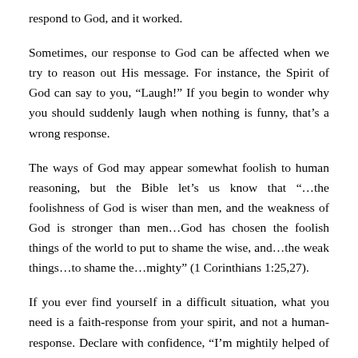respond to God, and it worked.
Sometimes, our response to God can be affected when we try to reason out His message. For instance, the Spirit of God can say to you, “Laugh!” If you begin to wonder why you should suddenly laugh when nothing is funny, that’s a wrong response.
The ways of God may appear somewhat foolish to human reasoning, but the Bible let’s us know that “…the foolishness of God is wiser than men, and the weakness of God is stronger than men…God has chosen the foolish things of the world to put to shame the wise, and…the weak things…to shame the…mighty” (1 Corinthians 1:25,27).
If you ever find yourself in a difficult situation, what you need is a faith-response from your spirit, and not a human-response. Declare with confidence, “I’m mightily helped of God. The Spirit of God is working in me, causing me to